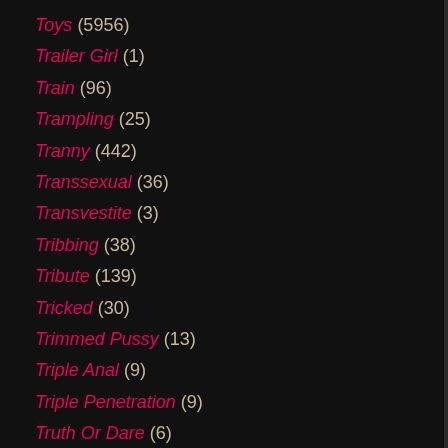Toys (5956)
Trailer Girl (1)
Train (96)
Trampling (25)
Tranny (442)
Transsexual (36)
Transvestite (3)
Tribbing (38)
Tribute (139)
Tricked (30)
Trimmed Pussy (13)
Triple Anal (9)
Triple Penetration (9)
Truth Or Dare (6)
Tugjob (88)
Turkish (337)